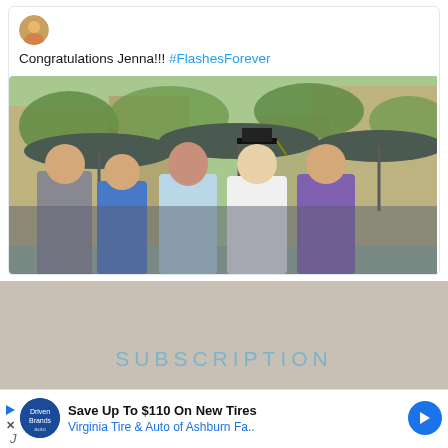[Figure (screenshot): Tweet card showing text 'Congratulations Jenna!!! #FlashesForever' with an avatar icon and a photo of five people posing outdoors at a graduation, one person wearing a mortarboard cap, with large umbrellas and buildings in background]
Congratulations Jenna!!! #FlashesForever
[Figure (photo): Group photo of five adults outdoors, one wearing a graduation cap, standing in front of large dark umbrellas and brick buildings with green trees]
SUBSCRIPTION
[Figure (screenshot): Advertisement banner: Save Up To $110 On New Tires - Virginia Tire & Auto of Ashburn Fa.. with logo and blue arrow]